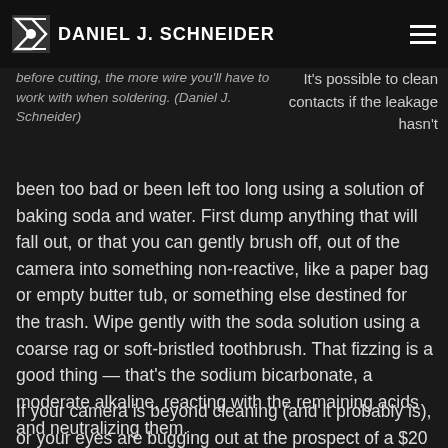DANIEL J. SCHNEIDER
before cutting, the more wire you'll have to work with when soldering. (Daniel J. Schneider)
It's possible to clean contacts if the leakage hasn't been too bad or been left too long using a solution of baking soda and water. First dump anything that will fall out, or that you can gently brush off, out of the camera into something non-reactive, like a paper bag or empty butter tub, or something else destined for the trash. Wipe gently with the soda solution using a coarse rag or soft-bristled toothbrush. That fizzing is a good thing — that's the sodium bicarbonate, a moderate alkaline, reacting with the remaining acids and neutralizing them.
If your camera is beyond cleaning (and it probably is), or your eyes are bugging out at the prospect of a $20